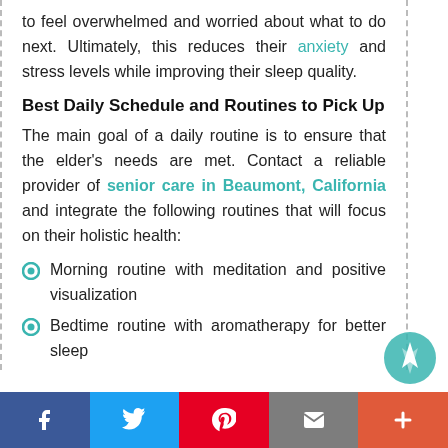to feel overwhelmed and worried about what to do next. Ultimately, this reduces their anxiety and stress levels while improving their sleep quality.
Best Daily Schedule and Routines to Pick Up
The main goal of a daily routine is to ensure that the elder's needs are met. Contact a reliable provider of senior care in Beaumont, California and integrate the following routines that will focus on their holistic health:
Morning routine with meditation and positive visualization
Bedtime routine with aromatherapy for better sleep